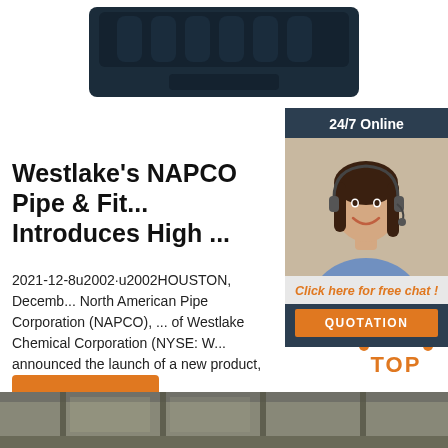[Figure (photo): Dark blue/navy plastic tray or mat with ribbed pattern, viewed from slightly above]
[Figure (photo): Sidebar widget with '24/7 Online' header, photo of woman with headset smiling, 'Click here for free chat!' text, and orange QUOTATION button]
Westlake's NAPCO Pipe & Fit... Introduces High ...
2021-12-8u2002·u2002HOUSTON, Decemb... North American Pipe Corporation (NAPCO), ... of Westlake Chemical Corporation (NYSE: W... announced the launch of a new product, mo... oriented PVC ...
[Figure (other): Orange 'Get Price' button]
[Figure (other): Orange 'TOP' button with dot pattern above it]
[Figure (photo): Bottom portion of a warehouse interior showing steel beams and structure]